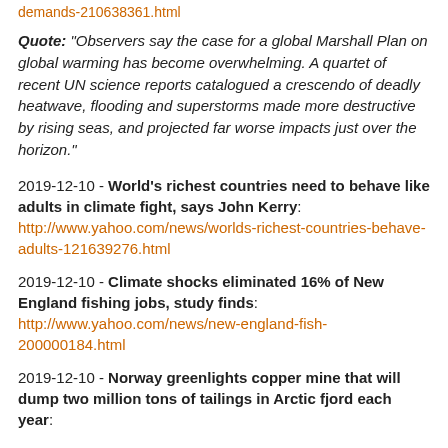demands-210638361.html
Quote: "Observers say the case for a global Marshall Plan on global warming has become overwhelming. A quartet of recent UN science reports catalogued a crescendo of deadly heatwave, flooding and superstorms made more destructive by rising seas, and projected far worse impacts just over the horizon."
2019-12-10 - World's richest countries need to behave like adults in climate fight, says John Kerry: http://www.yahoo.com/news/worlds-richest-countries-behave-adults-121639276.html
2019-12-10 - Climate shocks eliminated 16% of New England fishing jobs, study finds: http://www.yahoo.com/news/new-england-fish-200000184.html
2019-12-10 - Norway greenlights copper mine that will dump two million tons of tailings in Arctic fjord each year: